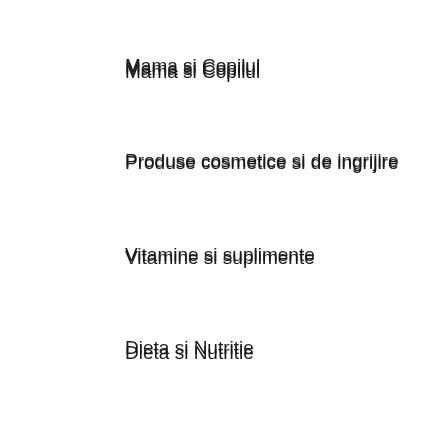Mama si Copilul
Produse cosmetice si de ingrijire
Vitamine si suplimente
Dieta si Nutritie
Viata sexuala
Tehnica medicala
Informatii
Termeni si conditii
Politica de securitate